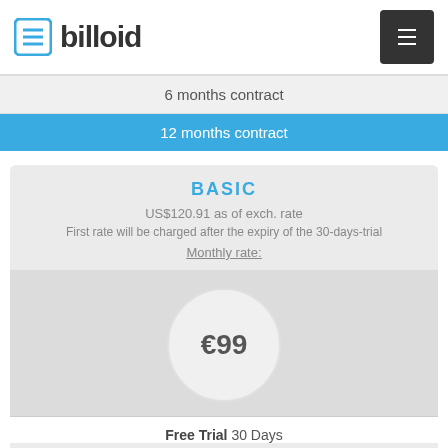billoid
6 months contract
12 months contract
BASIC
US$120.91 as of exch. rate
First rate will be charged after the expiry of the 30-days-trial
Monthly rate:
€99
Free Trial 30 Days